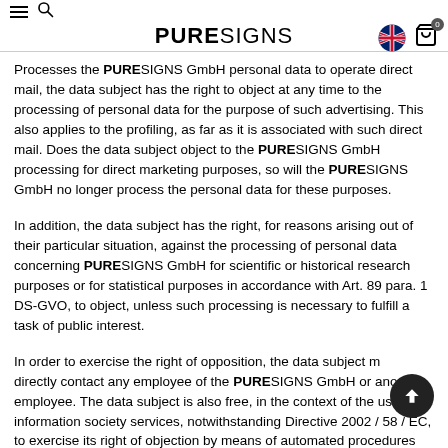PURESIGNS
Processes the PURESIGNS GmbH personal data to operate direct mail, the data subject has the right to object at any time to the processing of personal data for the purpose of such advertising. This also applies to the profiling, as far as it is associated with such direct mail. Does the data subject object to the PURESIGNS GmbH processing for direct marketing purposes, so will the PURESIGNS GmbH no longer process the personal data for these purposes.
In addition, the data subject has the right, for reasons arising out of their particular situation, against the processing of personal data concerning PURESIGNS GmbH for scientific or historical research purposes or for statistical purposes in accordance with Art. 89 para. 1 DS-GVO, to object, unless such processing is necessary to fulfill a task of public interest.
In order to exercise the right of opposition, the data subject may directly contact any employee of the PURESIGNS GmbH or another employee. The data subject is also free, in the context of the use of information society services, notwithstanding Directive 2002 / 58 / EC, to exercise its right of objection by means of automated procedures.